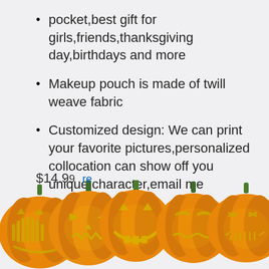pocket,best gift for girls,friends,thanksgiving day,birthdays and more
Makeup pouch is made of twill weave fabric
Customized design: We can print your favorite pictures,personalized collocation can show off you unique character,email me
Brand: XiangHeFu
$14.99
[Figure (illustration): Row of five carved Halloween jack-o-lantern pumpkins with glowing faces, each with a different expression, with green stems on top, displayed across the bottom of the page.]